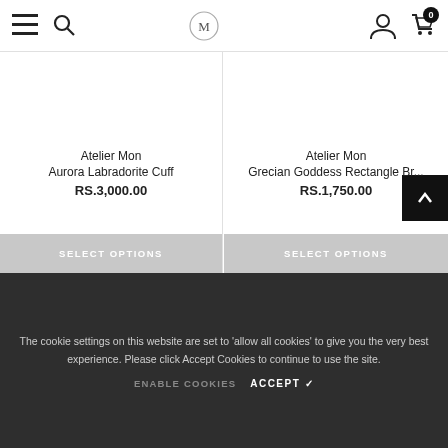Navigation bar with menu, search, logo (M), account, and cart (0) icons
[Figure (screenshot): SELECT OPTIONS button for product 1 (Aurora Labradorite Cuff)]
Atelier Mon
Aurora Labradorite Cuff
RS.3,000.00
[Figure (screenshot): SELECT OPTIONS button for product 2 (Grecian Goddess Rectangle Br...)]
Atelier Mon
Grecian Goddess Rectangle Br...
RS.1,750.00
The cookie settings on this website are set to 'allow all cookies' to give you the very best experience. Please click Accept Cookies to continue to use the site.
ENABLE COOKIES   ACCEPT ✓